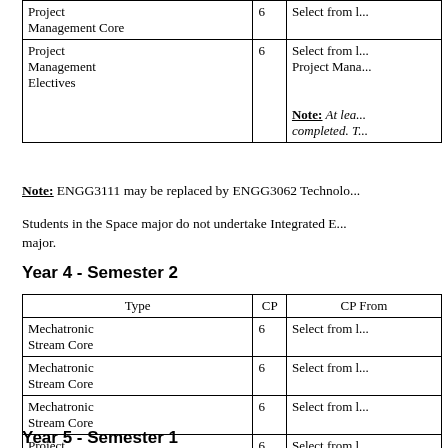| Type | CP | CP From |
| --- | --- | --- |
| Project
Management Core | 6 | Select from l... |
| Project
Management
Electives | 6 | Select from l...
Project Mana...

Note: At lea...
completed. T... |
Note: ENGG3111 may be replaced by ENGG3062 Technolo...
Students in the Space major do not undertake Integrated E... major.
Year 4 - Semester 2
| Type | CP | CP From |
| --- | --- | --- |
| Mechatronic
Stream Core | 6 | Select from l... |
| Mechatronic
Stream Core | 6 | Select from l... |
| Mechatronic
Stream Core | 6 | Select from l... |
| Project
Management Core | 6 | Select from l... |
Year 5 - Semester 1